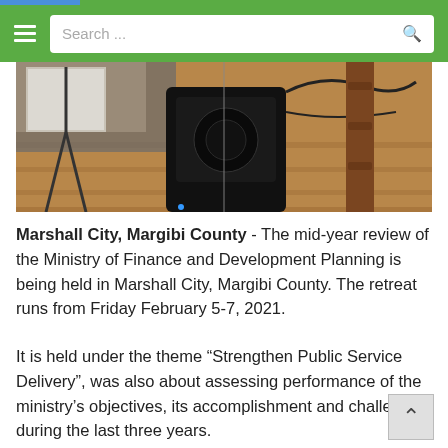Search ...
[Figure (photo): Photo of audio/speaker equipment and a wooden table leg on a hardwood floor, taken at the ministry retreat venue in Marshall City, Margibi County.]
Marshall City, Margibi County - The mid-year review of the Ministry of Finance and Development Planning is being held in Marshall City, Margibi County. The retreat runs from Friday February 5-7, 2021.
It is held under the theme “Strengthen Public Service Delivery”, was also about assessing performance of the ministry’s objectives, its accomplishment and challenges during the last three years.
Finance Minister Hon. Samuel D. Tweah Jr., in a special statement, called on departments of the ministry to ensure stronger coordination for improved service